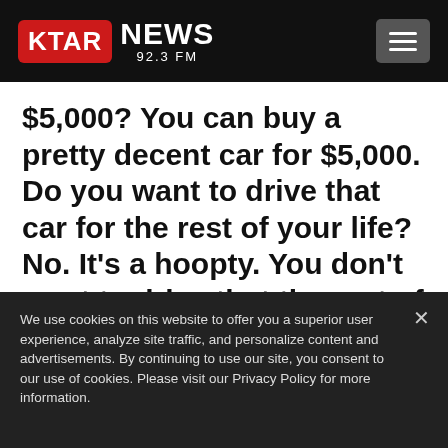KTAR NEWS 92.3 FM
$5,000? You can buy a pretty decent car for $5,000. Do you want to drive that car for the rest of your life? No. It’s a hoopty. You don’t want to drive that the rest of your life. It’s a little above a hoopty, actually. But if you did that for another 10 months while driving that
We use cookies on this website to offer you a superior user experience, analyze site traffic, and personalize content and advertisements. By continuing to use our site, you consent to our use of cookies. Please visit our Privacy Policy for more information.
Accept Cookies